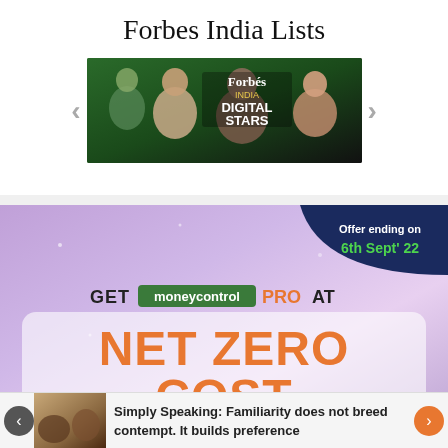Forbes India Lists
[Figure (illustration): Forbes India Digital Stars banner with group of people on dark green background, with carousel navigation arrows on either side]
[Figure (infographic): Moneycontrol PRO advertisement with purple gradient background. Offer ending on 6th Sept' 22. GET moneycontrol PRO AT NET ZERO COST. Grab Vouchers Worth ₹1500*]
Simply Speaking: Familiarity does not breed contempt. It builds preference